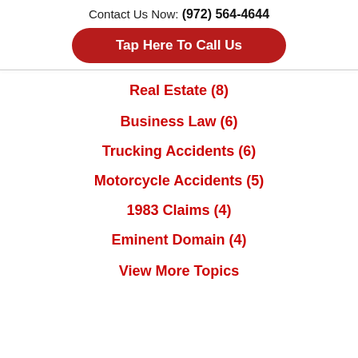Contact Us Now: (972) 564-4644
Tap Here To Call Us
Real Estate (8)
Business Law (6)
Trucking Accidents (6)
Motorcycle Accidents (5)
1983 Claims (4)
Eminent Domain (4)
View More Topics